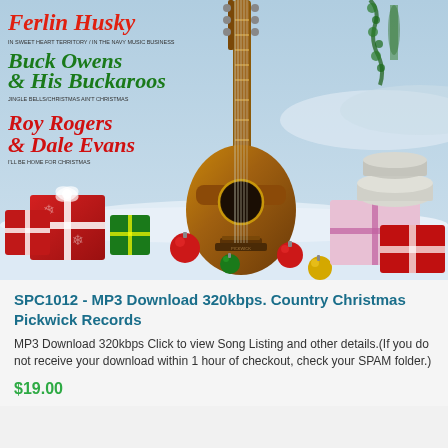[Figure (photo): Album cover for a Country Christmas compilation on Pickwick Records. Shows a guitar center, Christmas gifts (red wrapped boxes with white ribbons), colorful ornament balls (red, green, yellow) on snow, winter landscape background with trees and sky. Text on left side lists artists: Ferlin Husky, Buck Owens & His Buckaroos, Roy Rogers & Dale Evans in red and green stylized serif font.]
SPC1012 - MP3 Download 320kbps. Country Christmas Pickwick Records
MP3 Download 320kbps Click to view Song Listing and other details.(If you do not receive your download within 1 hour of checkout, check your SPAM folder.)
$19.00